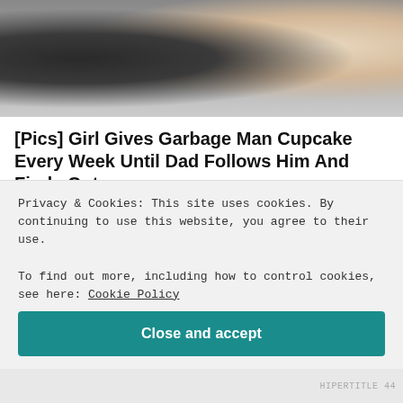[Figure (photo): Top cropped photo showing a child with blonde hair and a dark-clothed adult, partially visible, outdoors with green background]
[Pics] Girl Gives Garbage Man Cupcake Every Week Until Dad Follows Him And Finds Out...
HealthyGem
[Figure (photo): Thumbnail photo of a woman with brown hair appearing to be a medical professional, speaking with someone, in an office or clinic setting]
Find out how she makes an impact on others.
WebMD
Privacy & Cookies: This site uses cookies. By continuing to use this website, you agree to their use.
To find out more, including how to control cookies, see here: Cookie Policy
Close and accept